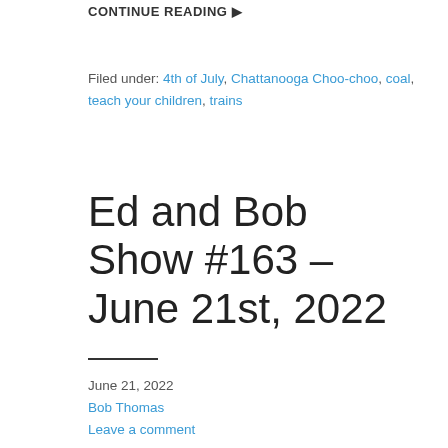CONTINUE READING ▶
Filed under: 4th of July, Chattanooga Choo-choo, coal, teach your children, trains
Ed and Bob Show #163 – June 21st, 2022
June 21, 2022
Bob Thomas
Leave a comment